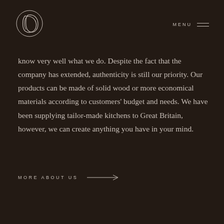D [logo] MENU
know very well what we do. Despite the fact that the company has extended, authenticity is still our priority. Our products can be made of solid wood or more economical materials according to customers' budget and needs. We have been supplying tailor-made kitchens to Great Britain, however, we can create anything you have in your mind.
MORE ABOUT US →